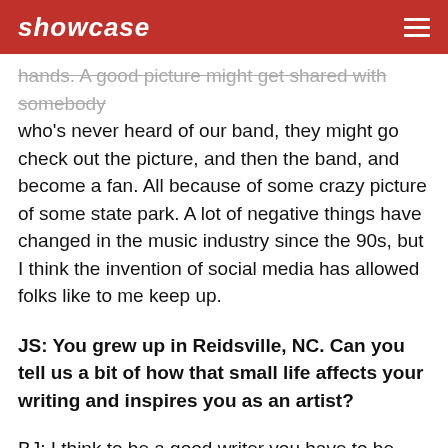showcase
hands. A good picture might get shared with somebody who's never heard of our band, they might go check out the picture, and then the band, and become a fan. All because of some crazy picture of some state park. A lot of negative things have changed in the music industry since the 90s, but I think the invention of social media has allowed folks like to me keep up.
JS: You grew up in Reidsville, NC. Can you tell us a bit of how that small life affects your writing and inspires you as an artist?
BJ: I think to be a good writer you have to be from the darker side of things. There's not too many good writers I enjoy that came with a silver spoon in their mouth. Most people come from hard times and small towns, and they've seen hard times first hand. I think that's what